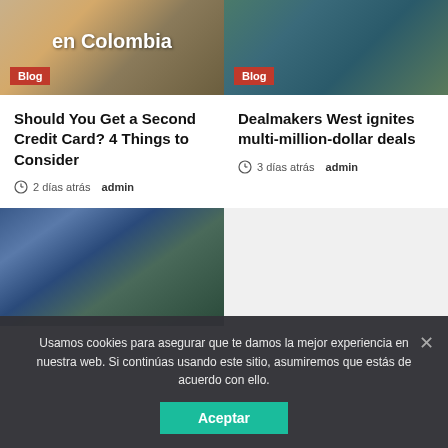[Figure (photo): Blog article thumbnail showing bottle and objects on wooden surface with overlay text 'en Colombia']
[Figure (photo): Blog article thumbnail showing coastal/landscape scene]
Should You Get a Second Credit Card? 4 Things to Consider
2 días atrás  admin
Dealmakers West ignites multi-million-dollar deals
3 días atrás  admin
[Figure (photo): Aerial view of suburban housing development]
Usamos cookies para asegurar que te damos la mejor experiencia en nuestra web. Si continúas usando este sitio, asumiremos que estás de acuerdo con ello.
Aceptar